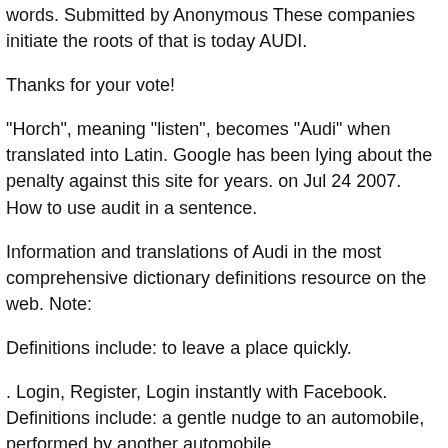words. Submitted by Anonymous These companies initiate the roots of that is today AUDI.
Thanks for your vote!
"Horch", meaning "listen", becomes "Audi" when translated into Latin. Google has been lying about the penalty against this site for years. on Jul 24 2007. How to use audit in a sentence.
Information and translations of Audi in the most comprehensive dictionary definitions resource on the web. Note:
Definitions include: to leave a place quickly.
. Login, Register, Login instantly with Facebook. Definitions include: a gentle nudge to an automobile, performed by another automobile.
Définition: AURICULO-, élément préfixe. The numerical value of Audi in Chaldean Numerology is: 6. The numerical value of Audi in Pythagorean...